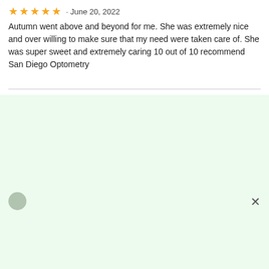★★★★★ · June 20, 2022
Autumn went above and beyond for me. She was extremely nice and over willing to make sure that my need were taken care of. She was super sweet and extremely caring 10 out of 10 recommend San Diego Optometry
[Figure (other): Light green panel/modal overlay with an X close button in the top-right corner and a small avatar circle at the top-left]